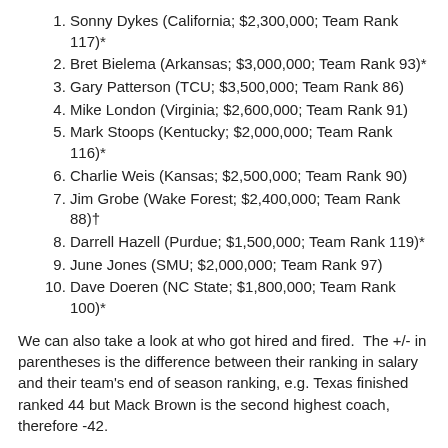1. Sonny Dykes (California; $2,300,000; Team Rank 117)*
2. Bret Bielema (Arkansas; $3,000,000; Team Rank 93)*
3. Gary Patterson (TCU; $3,500,000; Team Rank 86)
4. Mike London (Virginia; $2,600,000; Team Rank 91)
5. Mark Stoops (Kentucky; $2,000,000; Team Rank 116)*
6. Charlie Weis (Kansas; $2,500,000; Team Rank 90)
7. Jim Grobe (Wake Forest; $2,400,000; Team Rank 88)†
8. Darrell Hazell (Purdue; $1,500,000; Team Rank 119)*
9. June Jones (SMU; $2,000,000; Team Rank 97)
10. Dave Doeren (NC State; $1,800,000; Team Rank 100)*
We can also take a look at who got hired and fired. The +/- in parentheses is the difference between their ranking in salary and their team's end of season ranking, e.g. Texas finished ranked 44 but Mack Brown is the second highest coach, therefore -42.
Hired Coaches